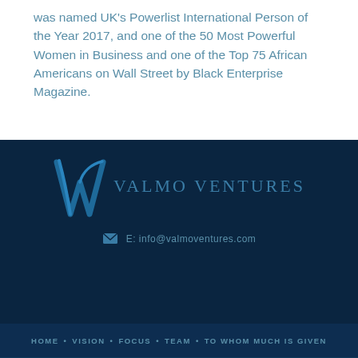was named UK's Powerlist International Person of the Year 2017, and one of the 50 Most Powerful Women in Business and one of the Top 75 African Americans on Wall Street by Black Enterprise Magazine.
[Figure (logo): Valmo Ventures logo with stylized 'W' monogram in blue and the text 'VALMO VENTURES' in spaced uppercase letters]
E: info@valmoventures.com
HOME · VISION · FOCUS · TEAM · TO WHOM MUCH IS GIVEN
COPYRIGHT © 2013 - 2022 VALMO VENTURES. ALL RIGHTS RESERVED.